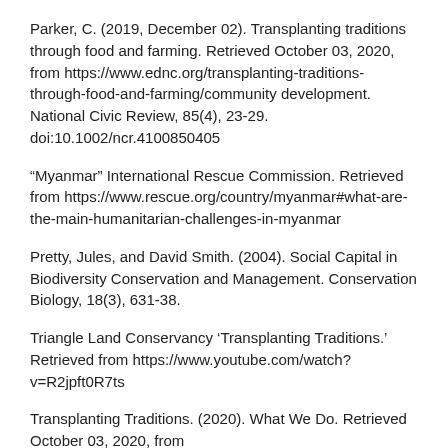Parker, C. (2019, December 02). Transplanting traditions through food and farming. Retrieved October 03, 2020, from https://www.ednc.org/transplanting-traditions-through-food-and-farming/community development. National Civic Review, 85(4), 23-29. doi:10.1002/ncr.4100850405
“Myanmar” International Rescue Commission. Retrieved from https://www.rescue.org/country/myanmar#what-are-the-main-humanitarian-challenges-in-myanmar
Pretty, Jules, and David Smith. (2004). Social Capital in Biodiversity Conservation and Management. Conservation Biology, 18(3), 631-38.
Triangle Land Conservancy ‘Transplanting Traditions.’ Retrieved from https://www.youtube.com/watch?v=R2jpft0R7ts
Transplanting Traditions. (2020). What We Do. Retrieved October 03, 2020, from https://www.transplantingtraditions.org/What-We-Do
United States Fish & Wildlife Service. (2011). Traditional Ecological Knowledge for Application by Service Scientists.